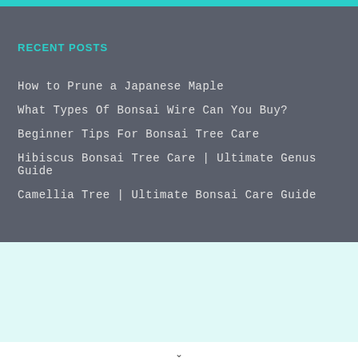RECENT POSTS
How to Prune a Japanese Maple
What Types Of Bonsai Wire Can You Buy?
Beginner Tips For Bonsai Tree Care
Hibiscus Bonsai Tree Care | Ultimate Genus Guide
Camellia Tree | Ultimate Bonsai Care Guide
This website uses cookies to ensure you get the best experience on our website.